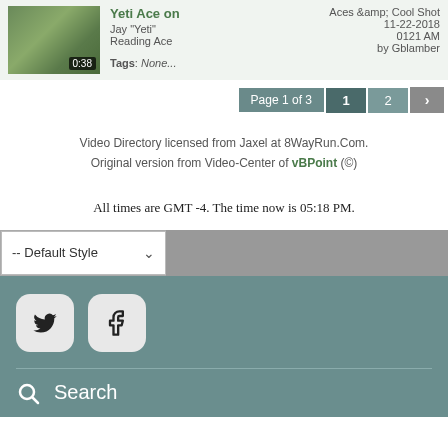[Figure (screenshot): Video thumbnail showing outdoor scene with duration 0:38]
Yeti Ace on Aces &amp; Cool Shot Jay "Yeti" Reading Ace Tags: None... 11-22-2018 0121 AM by Gblamber
Page 1 of 3  1  2  >
Video Directory licensed from Jaxel at 8WayRun.Com. Original version from Video-Center of vBPoint (©)
All times are GMT -4. The time now is 05:18 PM.
-- Default Style
[Figure (other): Social media icons: Twitter and Facebook buttons on teal background]
Search